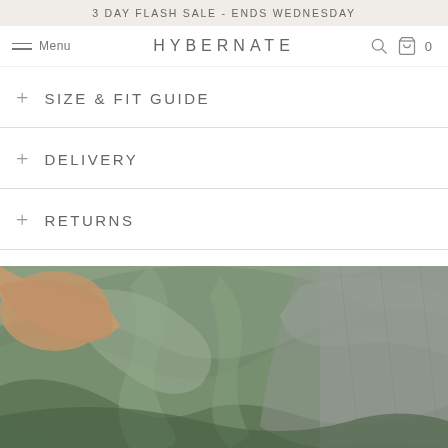3 DAY FLASH SALE - ENDS WEDNESDAY
Menu  HYBERNATE  0
SIZE & FIT GUIDE
DELIVERY
RETURNS
[Figure (photo): Person wrapped in soft sage/olive green fabric or bedding, resting on a grey sofa or couch. The fabric appears silky and smooth.]